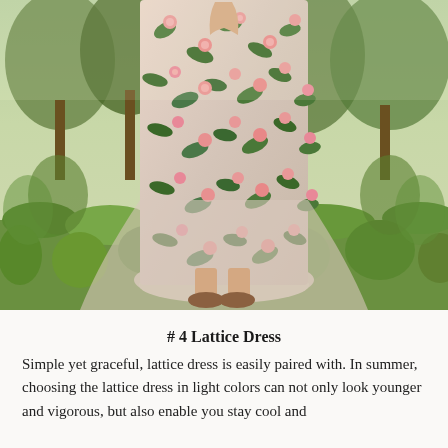[Figure (photo): A person standing outdoors in a green garden setting, wearing a long floral dress with pink flowers and green leaves pattern. They are standing on a stone surface surrounded by lush green plants and trees. Brown flat shoes visible at the bottom.]
# 4 Lattice Dress
Simple yet graceful, lattice dress is easily paired with. In summer, choosing the lattice dress in light colors can not only look younger and vigorous, but also enable you stay cool and